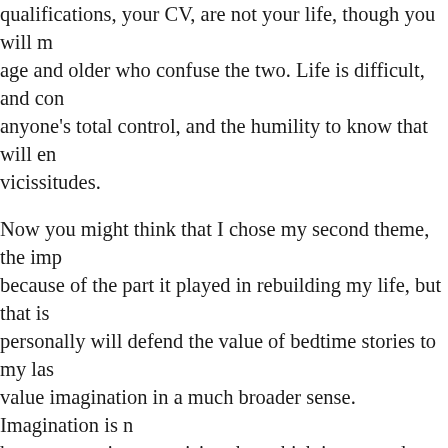qualifications, your CV, are not your life, though you will meet many people of all ages who confuse the two. Life is difficult, and complicated, and beyond anyone's total control, and the humility to know that will enable you to survive its vicissitudes.
Now you might think that I chose my second theme, the importance of imagination, because of the part it played in rebuilding my life, but that is not wholly so. I personally will defend the value of bedtime stories to my last gasp, but I value imagination in a much broader sense. Imagination is not only the uniquely human capacity to envision that which is not, and therefore the fount of all invention and innovation. In its arguably most transformative and revelatory capacity, it is the power that enables us to empathise with humans whose experiences we have never shared.
One of the greatest formative experiences of my life preceded Harry Potter, and informed much of what I subsequently wrote in those books. This experience came in the form of one of my earliest day jobs. Though I was sloping off to write stories during my lunch hours, I paid the rent in my early 20s by working in the research department at Amnesty International's headquarters